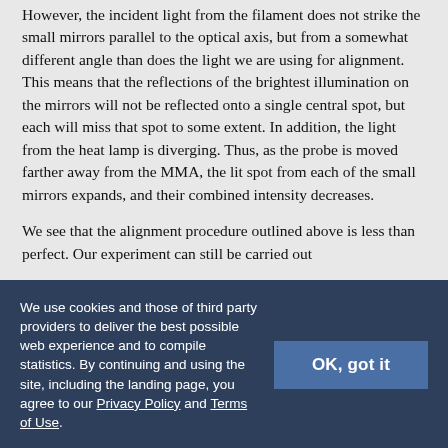However, the incident light from the filament does not strike the small mirrors parallel to the optical axis, but from a somewhat different angle than does the light we are using for alignment. This means that the reflections of the brightest illumination on the mirrors will not be reflected onto a single central spot, but each will miss that spot to some extent. In addition, the light from the heat lamp is diverging. Thus, as the probe is moved farther away from the MMA, the lit spot from each of the small mirrors expands, and their combined intensity decreases.
We see that the alignment procedure outlined above is less than perfect. Our experiment can still be carried out
We use cookies and those of third party providers to deliver the best possible web experience and to compile statistics. By continuing and using the site, including the landing page, you agree to our Privacy Policy and Terms of Use.